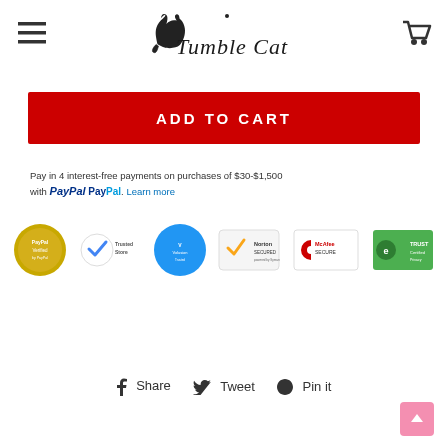[Figure (logo): Tumble Cat logo with cat silhouette and cursive text]
[Figure (other): Hamburger menu icon (three horizontal lines)]
[Figure (other): Shopping cart icon]
ADD TO CART
Pay in 4 interest-free payments on purchases of $30-$1,500 with PayPal. Learn more
[Figure (other): Trust badges: PayPal Verified, Google Trusted Store, Volusion, Norton Secured, McAfee Secure, TRUSTe]
Share  Tweet  Pin it
[Figure (other): Scroll to top pink button with up arrow]